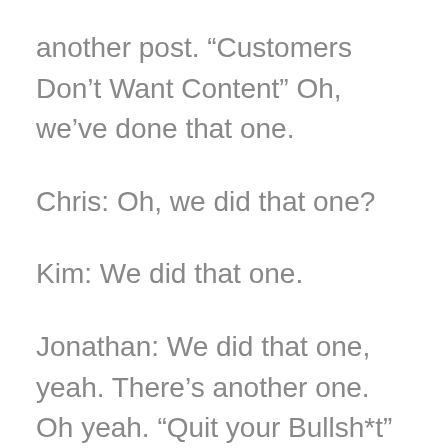another post. “Customers Don’t Want Content” Oh, we’ve done that one.
Chris: Oh, we did that one?
Kim: We did that one.
Jonathan: We did that one, yeah. There’s another one. Oh yeah. “Quit your Bullsh*t” Yeah, they’re colored links. I could tell when I was reading this morning reintroducing me for my